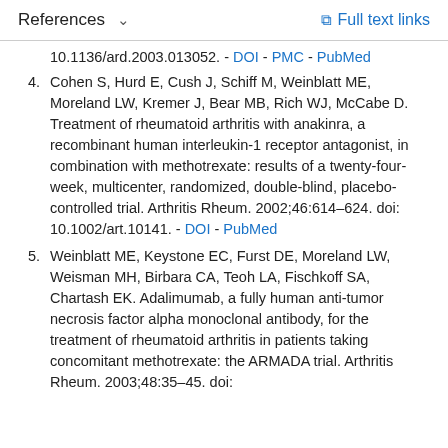References   ∨   Full text links
10.1136/ard.2003.013052. - DOI - PMC - PubMed
4. Cohen S, Hurd E, Cush J, Schiff M, Weinblatt ME, Moreland LW, Kremer J, Bear MB, Rich WJ, McCabe D. Treatment of rheumatoid arthritis with anakinra, a recombinant human interleukin-1 receptor antagonist, in combination with methotrexate: results of a twenty-four-week, multicenter, randomized, double-blind, placebo-controlled trial. Arthritis Rheum. 2002;46:614–624. doi: 10.1002/art.10141. - DOI - PubMed
5. Weinblatt ME, Keystone EC, Furst DE, Moreland LW, Weisman MH, Birbara CA, Teoh LA, Fischkoff SA, Chartash EK. Adalimumab, a fully human anti-tumor necrosis factor alpha monoclonal antibody, for the treatment of rheumatoid arthritis in patients taking concomitant methotrexate: the ARMADA trial. Arthritis Rheum. 2003;48:35–45. doi: